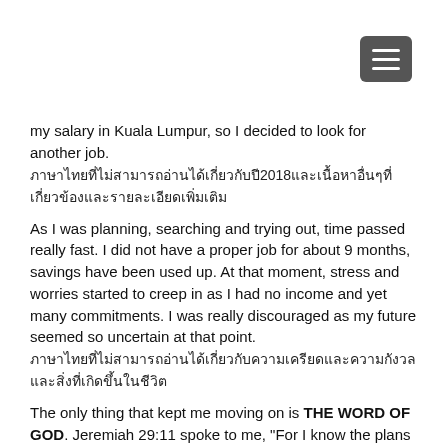Navigation menu button
my salary in Kuala Lumpur, so I decided to look for another job.
ภาษาไทยที่ไม่สามารถอ่านได้เกี่ยวกับปี2018และเนื้อหาอื่นๆที่เกี่ยวข้อง
As I was planning, searching and trying out, time passed really fast. I did not have a proper job for about 9 months, savings have been used up. At that moment, stress and worries started to creep in as I had no income and yet many commitments. I was really discouraged as my future seemed so uncertain at that point.
ภาษาไทยที่ไม่สามารถอ่านได้เกี่ยวกับความเครียดและความกังวล
The only thing that kept me moving on is THE WORD OF GOD. Jeremiah 29:11 spoke to me, "For I know the plans I have for you, declares the Lord, plans to prosper you and not to harm you, plans to give you hope and a future." In His Word, I can find comfort and keep my faith in Him.